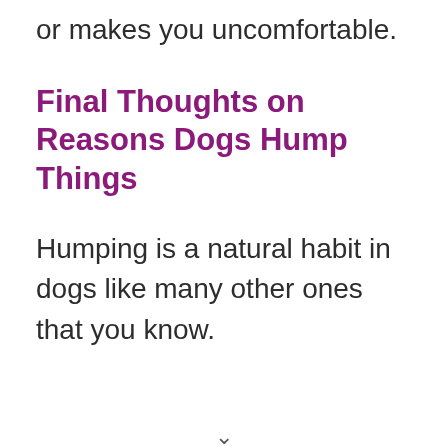or makes you uncomfortable.
Final Thoughts on Reasons Dogs Hump Things
Humping is a natural habit in dogs like many other ones that you know.